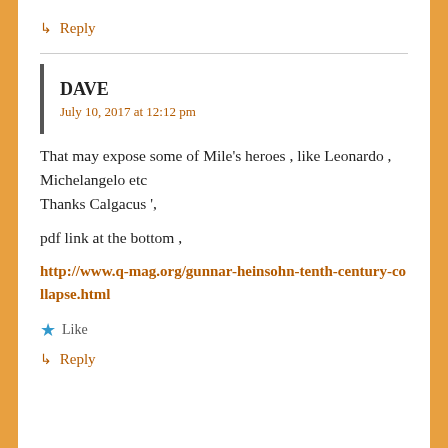↳ Reply
DAVE
July 10, 2017 at 12:12 pm
That may expose some of Mile's heroes , like Leonardo , Michelangelo etc
Thanks Calgacus ',
pdf link at the bottom ,
http://www.q-mag.org/gunnar-heinsohn-tenth-century-collapse.html
Like
↳ Reply